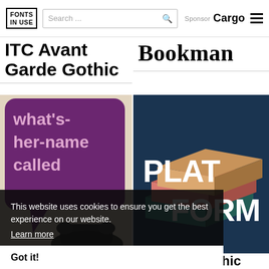FONTS IN USE | Search ... | Sponsor Cargo
Bookman
ITC Avant Garde Gothic
[Figure (illustration): Book cover showing speech bubble with text "what's-her-name called" in purple, with a telephone handset below]
[Figure (illustration): 3D stacked books forming letters PLAT FORM on dark navy background]
Simplex
Alternate Gothic
ITC Avant Garde Gothic
This website uses cookies to ensure you get the best experience on our website.
Learn more
Got it!